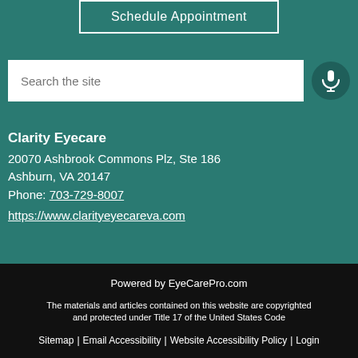[Figure (screenshot): Schedule Appointment button with white border on teal background]
[Figure (screenshot): Search the site input box with microphone icon on teal background]
Clarity Eyecare
20070 Ashbrook Commons Plz, Ste 186
Ashburn, VA 20147
Phone: 703-729-8007
https://www.clarityeyecareva.com
Powered by EyeCarePro.com
The materials and articles contained on this website are copyrighted and protected under Title 17 of the United States Code
Sitemap | Email Accessibility | Website Accessibility Policy | Login